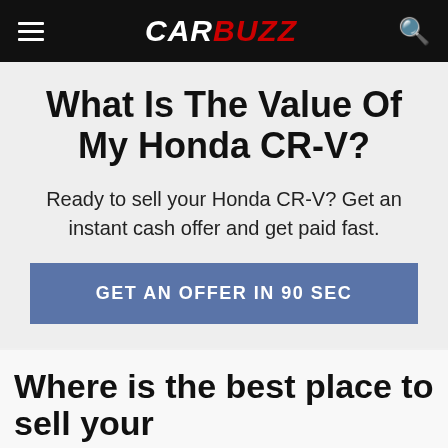CARBUZZ
What Is The Value Of My Honda CR-V?
Ready to sell your Honda CR-V? Get an instant cash offer and get paid fast.
GET AN OFFER IN 90 SEC
Where is the best place to sell your